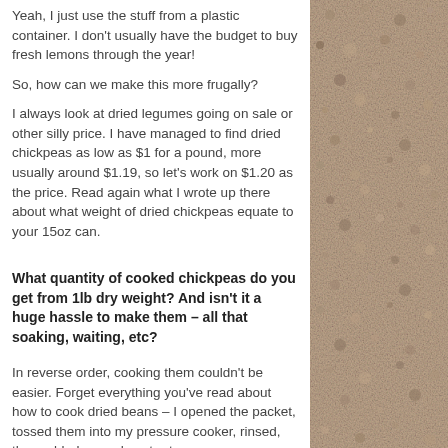Yeah, I just use the stuff from a plastic container. I don't usually have the budget to buy fresh lemons through the year!

So, how can we make this more frugally?

I always look at dried legumes going on sale or other silly price. I have managed to find dried chickpeas as low as $1 for a pound, more usually around $1.19, so let's work on $1.20 as the price. Read again what I wrote up there about what weight of dried chickpeas equate to your 15oz can.
What quantity of cooked chickpeas do you get from 1lb dry weight? And isn't it a huge hassle to make them – all that soaking, waiting, etc?
In reverse order, cooking them couldn't be easier. Forget everything you've read about how to cook dried beans – I opened the packet, tossed them into my pressure cooker, rinsed, then added enough water to cover
[Figure (photo): Gravel or sand texture in brown/tan tones filling the right column of the page]